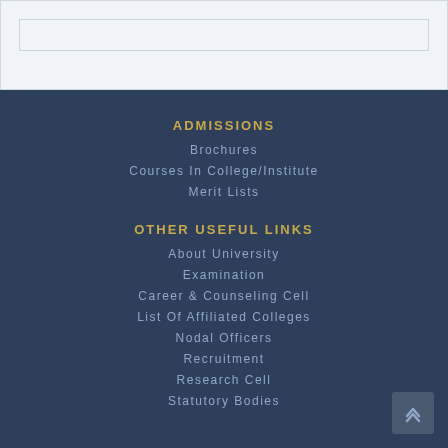ADMISSIONS
Brochures
Courses In College/Institute
Merit Lists
OTHER USEFUL LINKS
About University
Examination
Career & Counseling Cell
List Of Affiliated Colleges
Nodal Officers
Recruitment
Research Cell
Statutory Bodies